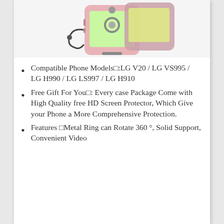[Figure (photo): Product photo of a pink phone case for LG V20 with metal ring, shown from the back with a lanyard attachment.]
Compatible Phone Models□:LG V20 / LG VS995 / LG H990 / LG LS997 / LG H910
Free Gift For You□: Every case Package Come with High Quality free HD Screen Protector, Which Give your Phone a More Comprehensive Protection.
Features □Metal Ring can Rotate 360 °, Solid Support, Convenient Video